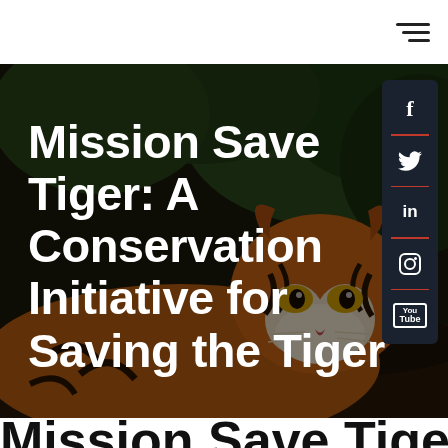Navigation bar with hamburger menu icon
[Figure (photo): Close-up photo of a tiger resting, looking directly at the camera, against a dark forest background with dark overlay. Social media sidebar icons (Facebook, Twitter, LinkedIn, Instagram, YouTube) visible on the right side.]
Mission Save Tiger: A Conservation Initiative for Saving the Tiger
Mission Save Tiger: A